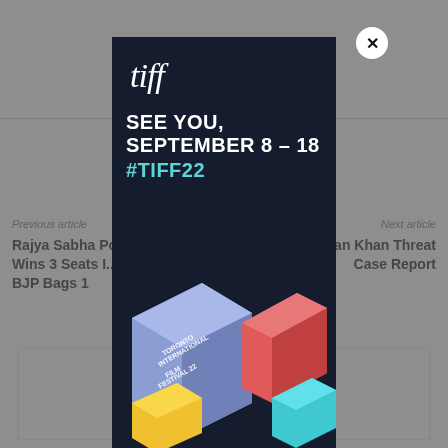Previous article
Rajya Sabha Po... Wins 3 Seats I... BJP Bags 1
Next article
an Khan Threat Case Report
[Figure (illustration): TIFF (Toronto International Film Festival) advertisement popup. Dark navy background with white 'tiff' logo text. Large bold white text reads 'SEE YOU, SEPTEMBER 8 - 18' and cyan/teal '#TIFF22'. Bottom portion shows an isometric illustration of colorful 3D boxes with text 'TORONTO INTERNATIONAL FILM FESTIVAL 22' in white. X close button in white circle at top right corner.]